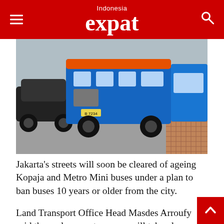Indonesia expat
[Figure (photo): A blue Kopaja/Metro Mini bus and a black car on a Jakarta street, viewed from street level. The bus is parked at a curb with a brick sidewalk visible.]
Jakarta’s streets will soon be cleared of ageing Kopaja and Metro Mini buses under a plan to ban buses 10 years or older from the city.
Land Transport Office Head Masdes Arroufy said the replacement process will take place over the next 18 months, according to a report from Tempo.
Buses older than 10 years will be banned from